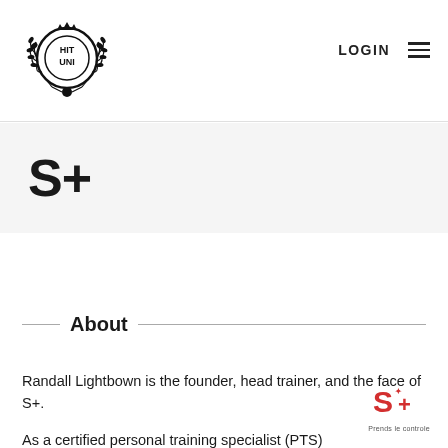[Figure (logo): Hit Uni circular logo with laurel wreath, crown, and ball at bottom]
LOGIN
S+
About
Randall Lightbown is the founder, head trainer, and the face of S+.
As a certified personal training specialist (PTS)
[Figure (logo): S+ red logo with tagline 'Prends le controle']